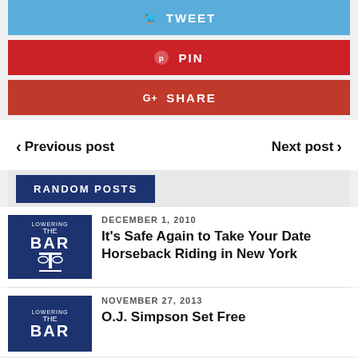[Figure (screenshot): Tweet social share button (light blue)]
[Figure (screenshot): Pin social share button (red)]
[Figure (screenshot): Google+ Share social share button (dark red)]
< Previous post    Next post >
RANDOM POSTS
[Figure (logo): Lowering the Bar logo - dark blue with scales of justice]
DECEMBER 1, 2010
It's Safe Again to Take Your Date Horseback Riding in New York
[Figure (logo): Lowering the Bar logo - dark blue with scales of justice]
NOVEMBER 27, 2013
O.J. Simpson Set Free